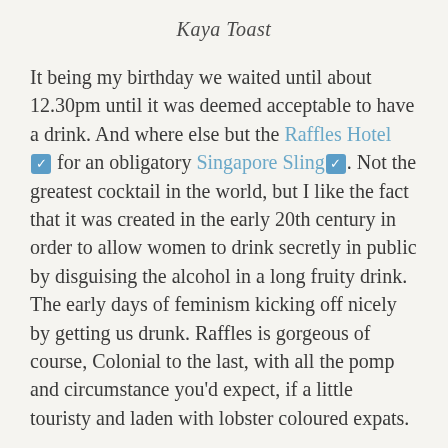Kaya Toast
It being my birthday we waited until about 12.30pm until it was deemed acceptable to have a drink. And where else but the Raffles Hotel ✅ for an obligatory Singapore Sling✅. Not the greatest cocktail in the world, but I like the fact that it was created in the early 20th century in order to allow women to drink secretly in public by disguising the alcohol in a long fruity drink. The early days of feminism kicking off nicely by getting us drunk. Raffles is gorgeous of course, Colonial to the last, with all the pomp and circumstance you'd expect, if a little touristy and laden with lobster coloured expats.